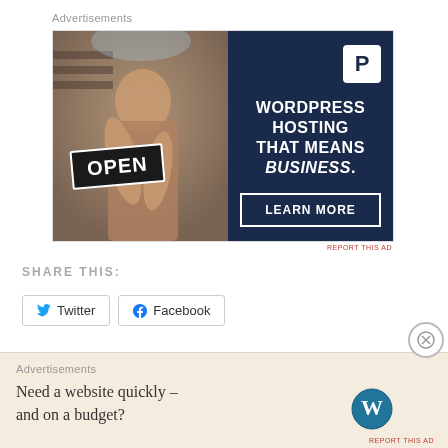Advertisements
[Figure (photo): WordPress hosting advertisement banner. Left half shows a woman holding an OPEN sign, right half is dark navy with Pressable P logo, text 'WORDPRESS HOSTING THAT MEANS BUSINESS.' and a 'LEARN MORE' button.]
REPORT THIS AD
SHARE THIS:
Twitter   Facebook
Advertisements
Need a website quickly – and on a budget?
REPORT THIS AD